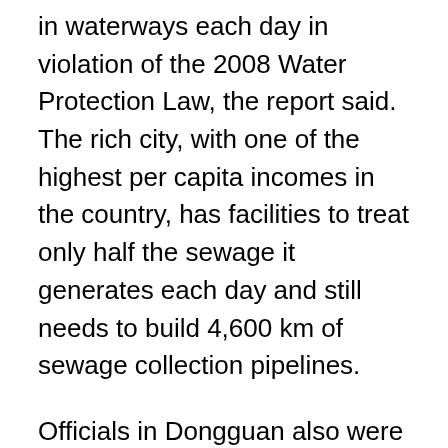in waterways each day in violation of the 2008 Water Protection Law, the report said. The rich city, with one of the highest per capita incomes in the country, has facilities to treat only half the sewage it generates each day and still needs to build 4,600 km of sewage collection pipelines.
Officials in Dongguan also were upbraided for releasing nearly 450,000 tons of raw sewage into its rivers. The amount of ammoniac nitrogen and phosphorus — two common pollutants from sewage — in the city's Shima River have more than doubled from 2012 to 2016, inspectors found. The city has completed only one-fifth of the 1,080-km sewage-collection system it planned to build from 2010 to 2015, inspectors found.